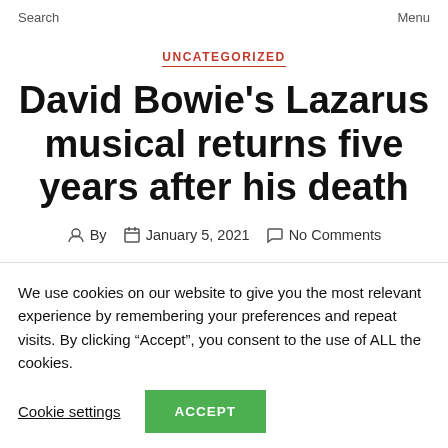Search   Menu
UNCATEGORIZED
David Bowie's Lazarus musical returns five years after his death
By   January 5, 2021   No Comments
We use cookies on our website to give you the most relevant experience by remembering your preferences and repeat visits. By clicking "Accept", you consent to the use of ALL the cookies.
Cookie settings   ACCEPT